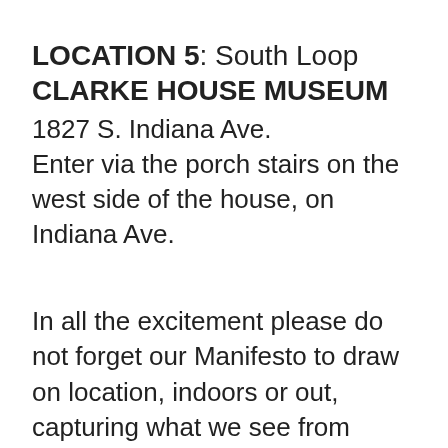LOCATION 5: South Loop
CLARKE HOUSE MUSEUM
1827 S. Indiana Ave.
Enter via the porch stairs on the west side of the house, on Indiana Ave.
In all the excitement please do not forget our Manifesto to draw on location, indoors or out, capturing what we see from direct observation.
This sketch meet will not have a...